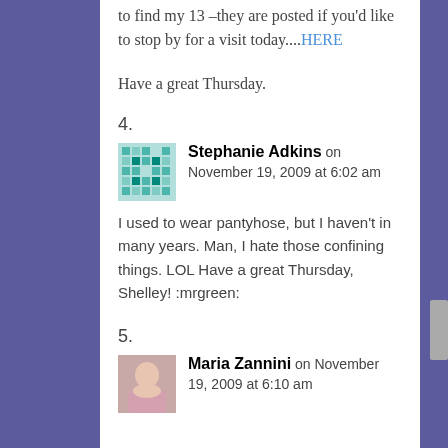to find my 13 –they are posted if you'd like to stop by for a visit today....HERE
Have a great Thursday.
4.
Stephanie Adkins on November 19, 2009 at 6:02 am
I used to wear pantyhose, but I haven't in many years. Man, I hate those confining things. LOL Have a great Thursday, Shelley! :mrgreen:
5.
Maria Zannini on November 19, 2009 at 6:10 am